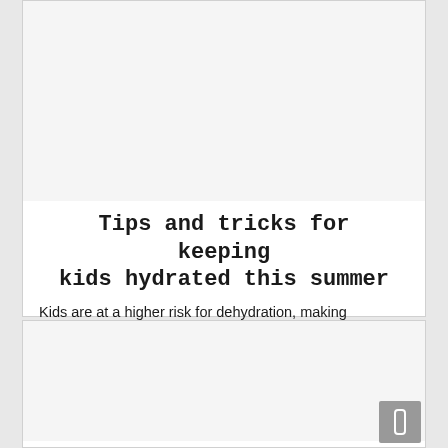Tips and tricks for keeping kids hydrated this summer
Kids are at a higher risk for dehydration, making hydration critical. Information and creative tips on how you can keep your kids hydrated this...